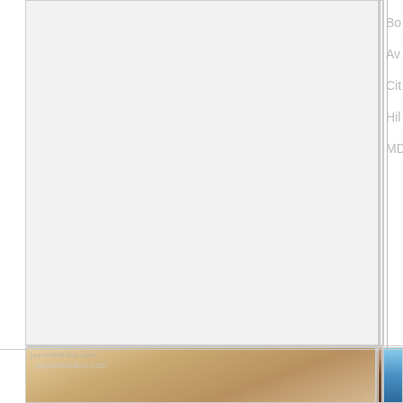[Figure (photo): Empty interior room, top-left cell]
[Figure (photo): Empty interior room, top-center cell]
Bo
Av
Cit
Hil
MD
[Figure (photo): Blonde woman, watermark jaysonbiados.com]
[Figure (photo): Brunette woman, watermark jaysonbiados.com]
[Figure (photo): Partial photo with water/outdoor scene]